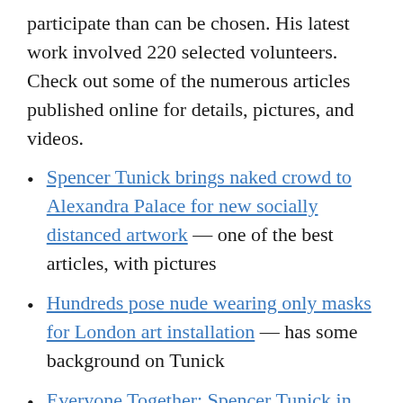participate than can be chosen. His latest work involved 220 selected volunteers. Check out some of the numerous articles published online for details, pictures, and videos.
Spencer Tunick brings naked crowd to Alexandra Palace for new socially distanced artwork — one of the best articles, with pictures
Hundreds pose nude wearing only masks for London art installation — has some background on Tunick
Everyone Together: Spencer Tunick in London — must-read blog article from a participant